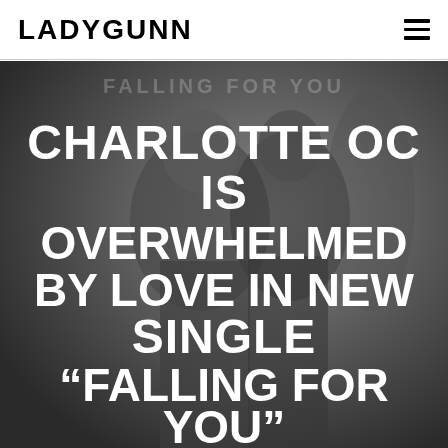LADYGUNN
[Figure (photo): Black and white photo of two people in close proximity, used as background for article title overlay. Faint watermark text 'FALLING FOR YOU' visible at top. Large white bold text overlaid reads: CHARLOTTE OC IS OVERWHELMED BY LOVE IN NEW SINGLE “FALLING FOR YOU” [INTERVIEW]]
CHARLOTTE OC IS OVERWHELMED BY LOVE IN NEW SINGLE “FALLING FOR YOU” [INTERVIEW]